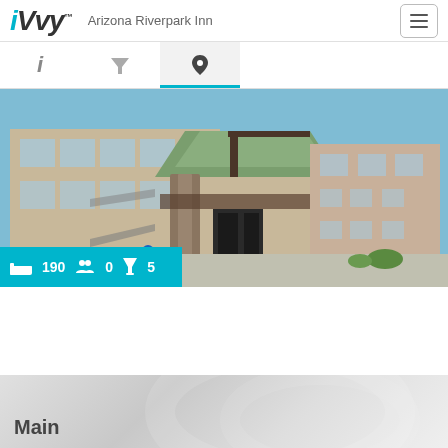iVvy™ — Arizona Riverpark Inn
[Figure (screenshot): Navigation tab bar with info (i), filter (martini glass), and location (pin) icons. Location tab is active with blue underline.]
[Figure (photo): Exterior photo of Arizona Riverpark Inn hotel building with stone pillars, green roof, and blue sky. Stats bar overlay shows: bed icon 190, people icon 0, cocktail icon 5.]
Main